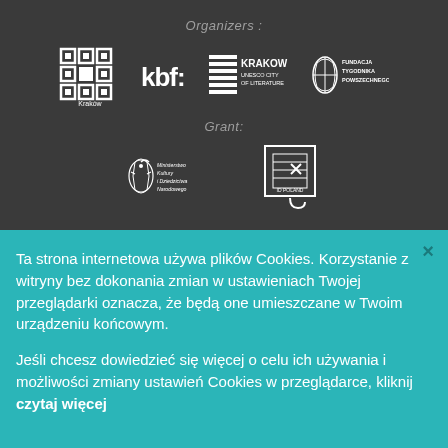Organizers :
[Figure (logo): Organizer logos: Kraków city logo, kbf: logo, Kraków UNESCO City of Literature logo, Fundacja Tygodnika Powszechnego logo]
Grant:
[Figure (logo): Grant logos: Ministerstwo Kultury i Dziedzictwa Narodowego logo, Go Poland logo]
Ta strona internetowa używa plików Cookies. Korzystanie z witryny bez dokonania zmian w ustawieniach Twojej przeglądarki oznacza, że będą one umieszczane w Twoim urządzeniu końcowym.
Jeśli chcesz dowiedzieć się więcej o celu ich używania i możliwości zmiany ustawień Cookies w przeglądarce, kliknij czytaj więcej